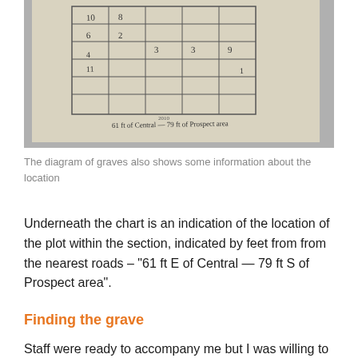[Figure (photo): A photograph of a hand-drawn cemetery plot diagram showing a grid of graves with handwritten numbers (10, 8, 2, 3, 3, 9, 11, 1) and a note below reading '61 ft E of Central — 79 ft S of Prospect area']
The diagram of graves also shows some information about the location
Underneath the chart is an indication of the location of the plot within the section, indicated by feet from from the nearest roads – "61 ft E of Central —  79 ft S of Prospect area".
Finding the grave
Staff were ready to accompany me but I was willing to